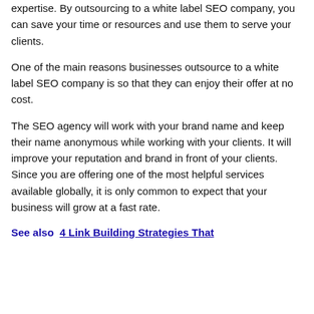expertise. By outsourcing to a white label SEO company, you can save your time or resources and use them to serve your clients.
One of the main reasons businesses outsource to a white label SEO company is so that they can enjoy their offer at no cost.
The SEO agency will work with your brand name and keep their name anonymous while working with your clients. It will improve your reputation and brand in front of your clients. Since you are offering one of the most helpful services available globally, it is only common to expect that your business will grow at a fast rate.
See also  4 Link Building Strategies That